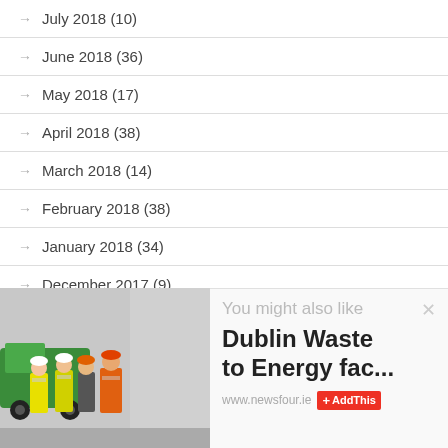July 2018 (10)
June 2018 (36)
May 2018 (17)
April 2018 (38)
March 2018 (14)
February 2018 (38)
January 2018 (34)
December 2017 (9)
November 2017 (26)
[Figure (photo): Four people wearing hard hats and high-visibility vests standing in front of a green truck/vehicle at an industrial facility. The widget also shows 'You might also like' header with an X close button, article title 'Dublin Waste to Energy fac...' and footer 'www.newsfour.ie' with AddThis button.]